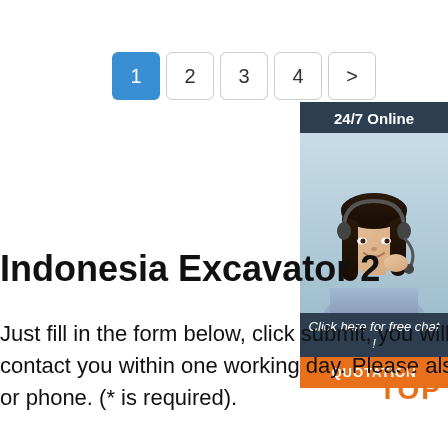[Figure (other): Pagination control with buttons: 1 (active/blue), 2, 3, 4, > (next)]
[Figure (infographic): 24/7 Online customer support widget with photo of woman with headset, 'Click here for free chat!' text, and orange QUOTATION button]
Indonesia Excavator 2
Just fill in the form below, click submit, you will get the price list, and we will contact you within one working day. Please also feel free to contact us via email or phone. (* is required).